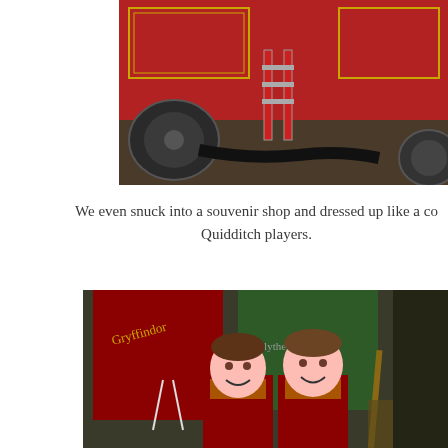[Figure (photo): Close-up photo of the bottom section of a red steam locomotive, showing large wheels, red metal panels with gold trim, and steps/ladder on the side — appears to be the Hogwarts Express.]
We even snuck into a souvenir shop and dressed up like a couple of Quidditch players.
[Figure (photo): Two smiling young men wearing Gryffindor Quidditch robes in red and gold, standing in front of Gryffindor and Slytherin Quidditch robes hanging in a souvenir shop at what appears to be the Wizarding World of Harry Potter.]